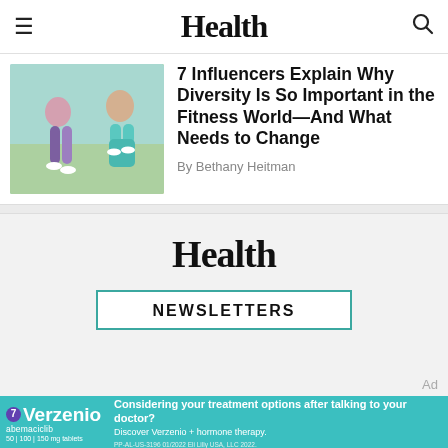Health
[Figure (photo): Two women jumping and doing fitness exercises against a colorful background]
7 Influencers Explain Why Diversity Is So Important in the Fitness World—And What Needs to Change
By Bethany Heitman
[Figure (logo): Health magazine logo in large bold serif font]
NEWSLETTERS
[Figure (infographic): Verzenio (abemaciclib) advertisement banner: Considering your treatment options after talking to your doctor? Discover Verzenio + hormone therapy. PP-AL-US-3196 01/2022 Eli Lilly USA, LLC 2022.]